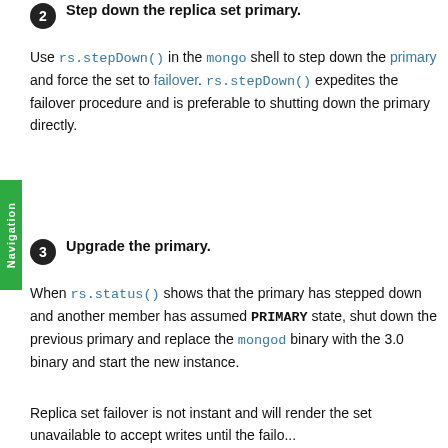2. Step down the replica set primary. Use rs.stepDown() in the mongo shell to step down the primary and force the set to failover. rs.stepDown() expedites the failover procedure and is preferable to shutting down the primary directly.
3. Upgrade the primary. When rs.status() shows that the primary has stepped down and another member has assumed PRIMARY state, shut down the previous primary and replace the mongod binary with the 3.0 binary and start the new instance.
Replica set failover is not instant and will render the set unavailable to accept writes until the failover...